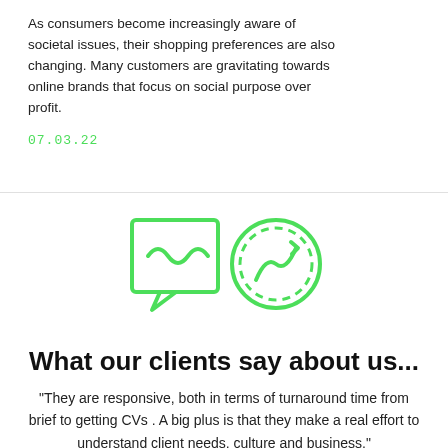As consumers become increasingly aware of societal issues, their shopping preferences are also changing. Many customers are gravitating towards online brands that focus on social purpose over profit.
07.03.22
[Figure (logo): Two green outline icons side by side: a speech bubble with a wavy line inside (left), and a circle with a upward trending arrow/graph icon inside (right)]
What our clients say about us...
"They are responsive, both in terms of turnaround time from brief to getting CVs . A big plus is that they make a real effort to understand client needs, culture and business."
— Head of Financial Accounts